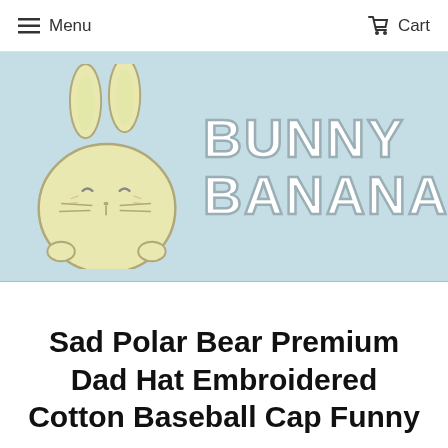≡ Menu   🛒 Cart
[Figure (illustration): Bunny Banana store banner: cartoon round yellow bunny with droopy eyes and whiskers on light blue background, next to bold outlined text reading BUNNY BANANA]
Sad Polar Bear Premium Dad Hat Embroidered Cotton Baseball Cap Funny